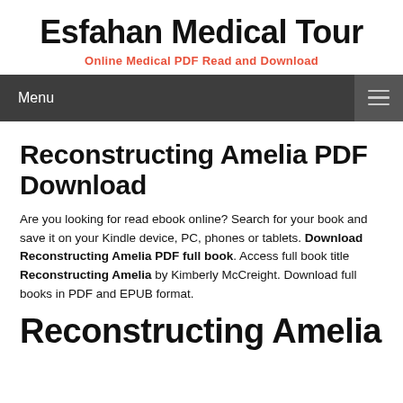Esfahan Medical Tour
Online Medical PDF Read and Download
Menu
Reconstructing Amelia PDF Download
Are you looking for read ebook online? Search for your book and save it on your Kindle device, PC, phones or tablets. Download Reconstructing Amelia PDF full book. Access full book title Reconstructing Amelia by Kimberly McCreight. Download full books in PDF and EPUB format.
Reconstructing Amelia